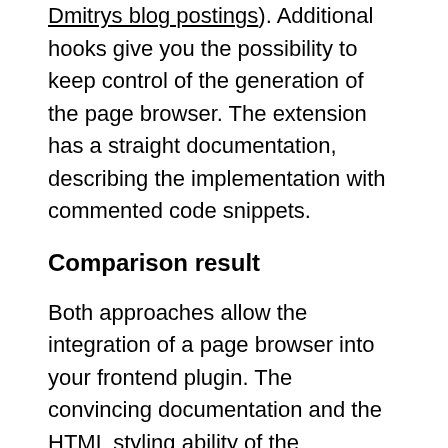Dmitrys blog postings). Additional hooks give you the possibility to keep control of the generation of the page browser. The extension has a straight documentation, describing the implementation with commented code snippets.
Comparison result
Both approaches allow the integration of a page browser into your frontend plugin. The convincing documentation and the HTML styling ability of the "Universal page browser" extension finaly make the difference, especially if you rather rely on standard writings than on searching for code snippets.